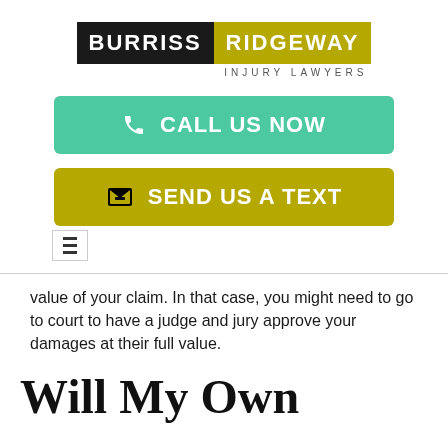[Figure (logo): Burriss Ridgeway Injury Lawyers logo — black panel with BURRISS in white, olive/gold panel with RIDGEWAY in white, subtitle INJURY LAWYERS below]
[Figure (infographic): Green button reading CALL US NOW with phone icon]
[Figure (infographic): Olive/gold button reading SEND US A TEXT with envelope icon]
[Figure (other): Hamburger menu icon (three horizontal lines in a bordered box)]
value of your claim. In that case, you might need to go to court to have a judge and jury approve your damages at their full value.
Will My Own